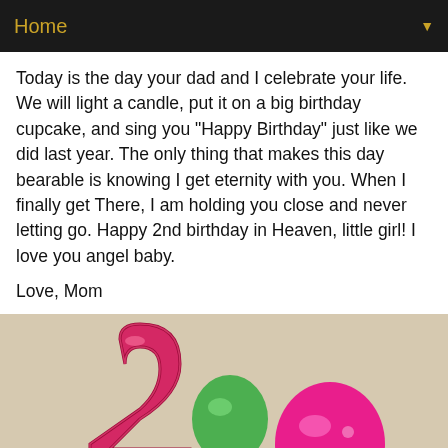Home
Today is the day your dad and I celebrate your life. We will light a candle, put it on a big birthday cupcake, and sing you "Happy Birthday" just like we did last year. The only thing that makes this day bearable is knowing I get eternity with you. When I finally get There, I am holding you close and never letting go. Happy 2nd birthday in Heaven, little girl! I love you angel baby.
Love, Mom
[Figure (photo): A glittery pink number 2 birthday candle with a green balloon and a bright pink balloon with a small pink ribbon in the foreground, on a beige/tan surface.]